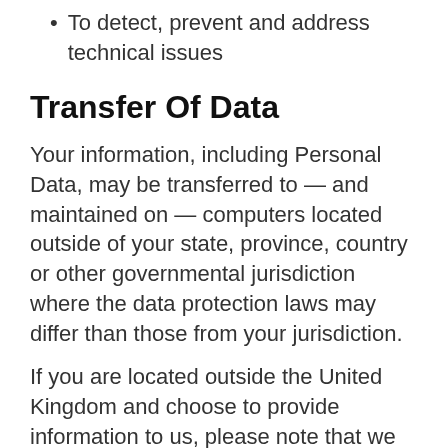To detect, prevent and address technical issues
Transfer Of Data
Your information, including Personal Data, may be transferred to — and maintained on — computers located outside of your state, province, country or other governmental jurisdiction where the data protection laws may differ than those from your jurisdiction.
If you are located outside the United Kingdom and choose to provide information to us, please note that we